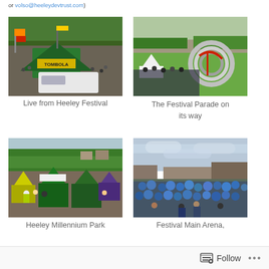or volso@heeleydevtrust.com)
[Figure (photo): Aerial/overhead view of Heeley Festival with green tent labeled TOMBOLA, colorful flags, crowd of people, trees in background]
Live from Heeley Festival
[Figure (photo): Festival parade scene with large metallic spiral/tube sculpture, people gathered on grass, buildings in background]
The Festival Parade on its way
[Figure (photo): Heeley Millennium Park with green and yellow tents/gazebos, people in hi-vis jackets, trees and hillside in background]
Heeley Millennium Park
[Figure (photo): Festival Main Arena with large crowd of people wearing blue, cloudy sky, buildings in background]
Festival Main Arena,
Follow ...